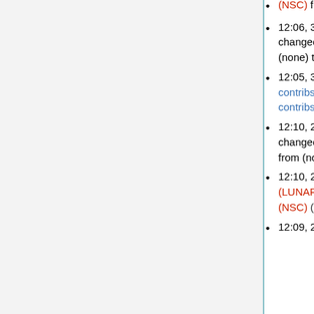(NSC) from (none) to writer
12:06, 31 May 2018 Thomas Bellman (NSC) (talk | contribs) changed group membership for Per Fahlberg (C3SE) from (none) to writer
12:05, 31 May 2018 User account Per Fahlberg (C3SE) (talk | contribs) was created by Thomas Bellman (NSC) (talk | contribs)
12:10, 24 May 2018 Thomas Bellman (NSC) (talk | contribs) changed group membership for Gerard Schaafsma (LUNARC) from (none) to writer
12:10, 24 May 2018 User account Gerard Schaafsma (LUNARC) (talk | contribs) was created by Thomas Bellman (NSC) (talk | contribs)
12:09, 27 April 2018 Thomas